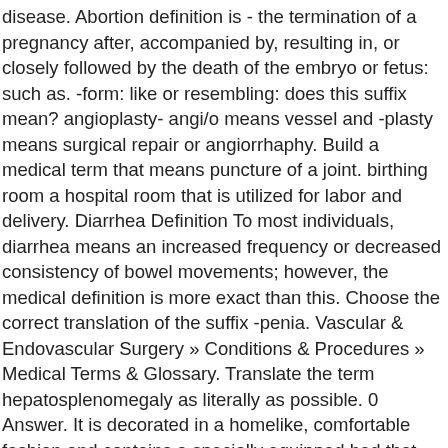disease. Abortion definition is - the termination of a pregnancy after, accompanied by, resulting in, or closely followed by the death of the embryo or fetus: such as. -form: like or resembling: does this suffix mean? angioplasty- angi/o means vessel and -plasty means surgical repair or angiorrhaphy. Build a medical term that means puncture of a joint. birthing room a hospital room that is utilized for labor and delivery. Diarrhea Definition To most individuals, diarrhea means an increased frequency or decreased consistency of bowel movements; however, the medical definition is more exact than this. Choose the correct translation of the suffix -penia. Vascular & Endovascular Surgery » Conditions & Procedures » Medical Terms & Glossary. Translate the term hepatosplenomegaly as literally as possible. 0 Answer. It is decorated in a homelike, comfortable fashion and contains a specially equipped bed that can be adjusted for delivery. lesion [le´zhun] any pathological or traumatic discontinuity of tissue or loss of function of a part. VENO - Since 1952, we have been a synonym for quality. What is the correct definition for the abbreviation BMT? It